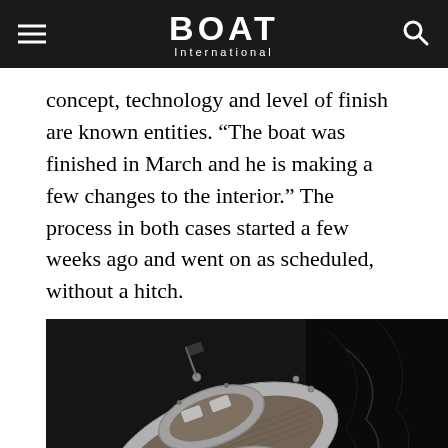BOAT International
concept, technology and level of finish are known entities. “The boat was finished in March and he is making a few changes to the interior.” The process in both cases started a few weeks ago and went on as scheduled, without a hitch.
[Figure (photo): Aerial black-and-white photograph of a yacht viewed from above, showing the deck with teak wood, circular cockpit areas, seating, and dark water with white wake visible to the right.]